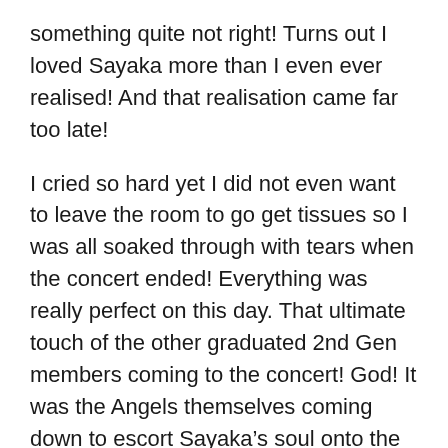something quite not right! Turns out I loved Sayaka more than I even ever realised! And that realisation came far too late!
I cried so hard yet I did not even want to leave the room to go get tissues so I was all soaked through with tears when the concert ended! Everything was really perfect on this day. That ultimate touch of the other graduated 2nd Gen members coming to the concert! God! It was the Angels themselves coming down to escort Sayaka’s soul onto the highest plane of existence! And that song! That lovely song that Yasusu, that nice Dude Yasusu, went of his way to write especially for Sayaka! What a perfect song! Then the fans, even though I was like Yuko, being pissed at them for deciding to now show their love for Sayaka, it was really moving seeing only green envelope the whole Dome!